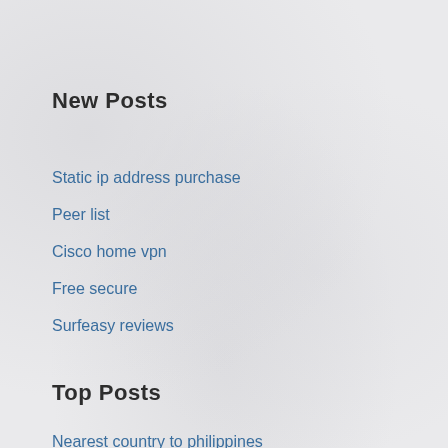New Posts
Static ip address purchase
Peer list
Cisco home vpn
Free secure
Surfeasy reviews
Top Posts
Nearest country to philippines